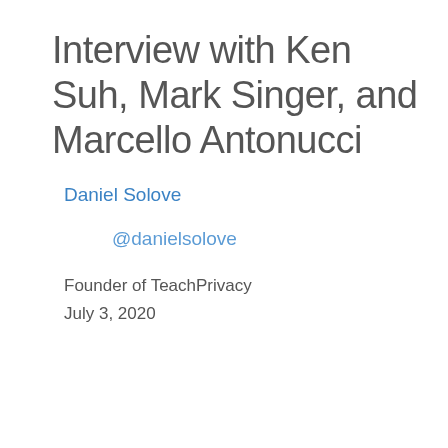Interview with Ken Suh, Mark Singer, and Marcello Antonucci
Daniel Solove
@danielsolove
Founder of TeachPrivacy
July 3, 2020